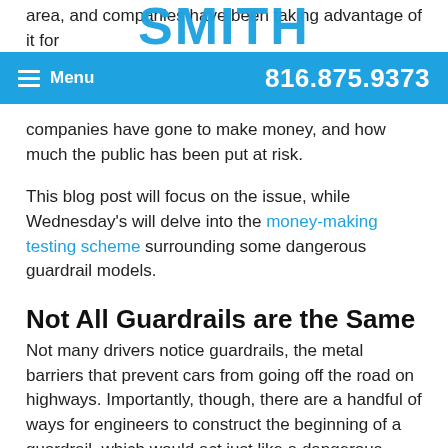area, and companies have been taking advantage of it for
[Figure (logo): SMITH law firm logo in large bold blue text]
Menu  816.875.9373
companies have gone to make money, and how much the public has been put at risk.
This blog post will focus on the issue, while Wednesday's will delve into the money-making testing scheme surrounding some dangerous guardrail models.
Not All Guardrails are the Same
Not many drivers notice guardrails, the metal barriers that prevent cars from going off the road on highways. Importantly, though, there are a handful of ways for engineers to construct the beginning of a guardrail, which would act just like a dangerous spear if it were not covered or protected in some way. Unfortunately, many of those